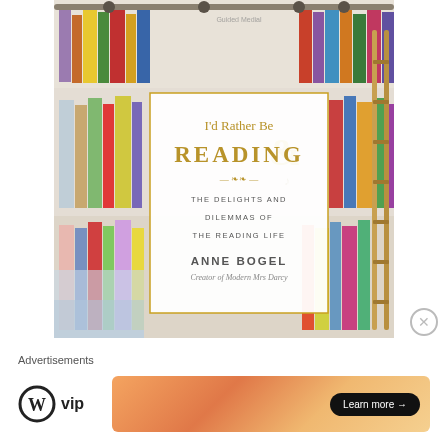[Figure (illustration): Book cover of 'I'd Rather Be Reading: The Delights and Dilemmas of the Reading Life' by Anne Bogel, Creator of Modern Mrs Darcy. Cover shows watercolor illustration of bookshelves with colorful books and a ladder. White title card with gold/tan text overlaid in center.]
Advertisements
[Figure (logo): WordPress VIP logo — circle W symbol with 'vip' text]
[Figure (illustration): Orange gradient advertisement banner with 'Learn more →' button]